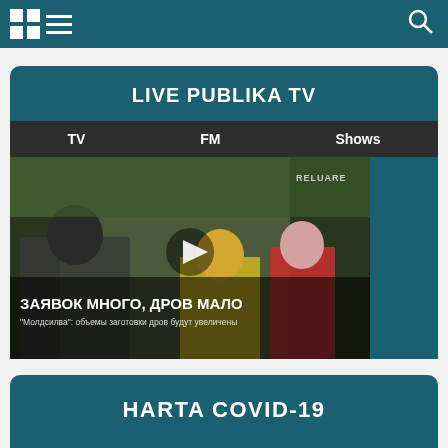[Figure (screenshot): Website navigation bar with logo grid icon, hamburger menu icon, and search icon on teal background]
LIVE PUBLIKA TV
TV   FM   Shows
[Figure (screenshot): Video thumbnail showing people outdoors with Russian text overlay: ЗАЯВОК МНОГО, ДРОВ МАЛО / "Молдсилва": объемы заготовки дров будут увеличены, with play button, RELUARE badge, Publika TV logo and 00:15 duration]
HARTA COVID-19
Harta COVID-19 in Moldova